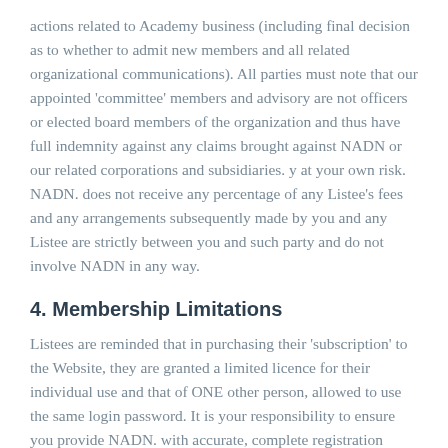actions related to Academy business (including final decision as to whether to admit new members and all related organizational communications). All parties must note that our appointed 'committee' members and advisory are not officers or elected board members of the organization and thus have full indemnity against any claims brought against NADN or our related corporations and subsidiaries. y at your own risk. NADN. does not receive any percentage of any Listee's fees and any arrangements subsequently made by you and any Listee are strictly between you and such party and do not involve NADN in any way.
4. Membership Limitations
Listees are reminded that in purchasing their 'subscription' to the Website, they are granted a limited licence for their individual use and that of ONE other person, allowed to use the same login password. It is your responsibility to ensure you provide NADN. with accurate, complete registration information, and to